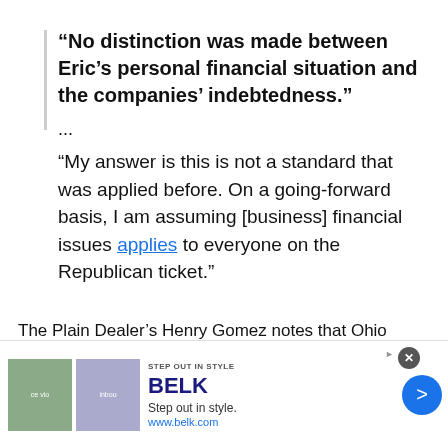“No distinction was made between Eric’s personal financial situation and the companies’ indebtedness.”
...
“My answer is this is not a standard that was applied before. On a going-forward basis, I am assuming [business] financial issues applies to everyone on the Republican ticket.”
The Plain Dealer’s Henry Gomez notes that Ohio Democratic Party Chairman and pirate wannabe Chris
[Figure (screenshot): Advertisement banner for Belk department store showing two fashion images, BELK logo, tagline 'Step out in style.' and URL www.belk.com, with close and navigate buttons]